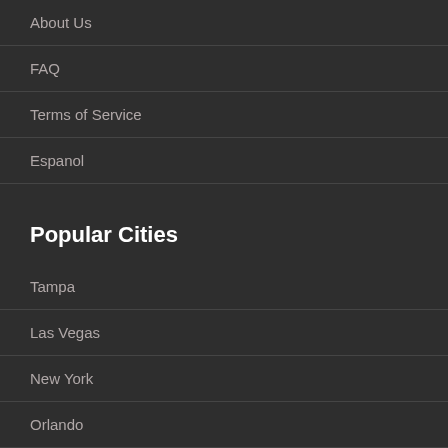About Us
FAQ
Terms of Service
Espanol
Popular Cities
Tampa
Las Vegas
New York
Orlando
Miami
Other